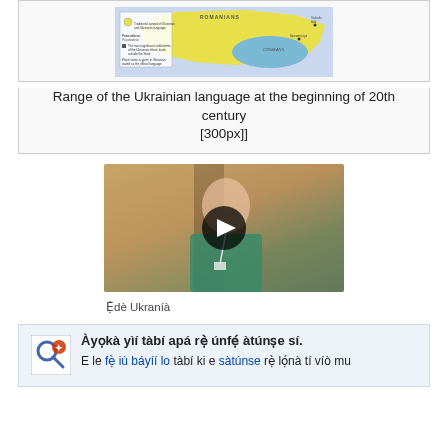[Figure (map): Map showing the range of the Ukrainian language at the beginning of the 20th century]
Range of the Ukrainian language at the beginning of 20th century
[300px]]
[Figure (photo): Video thumbnail of a woman in a teal shirt with a play button overlay]
Ẹ̀dè Ukraníà
Àyọkà yìí tàbí apá rẹ̀ únfẹ́ àtúnṣe sí.
E le fẹ̀ iù báyíí lo tàbí ki e sàtúnse rẹ̀ lọ́nà tí víò mu